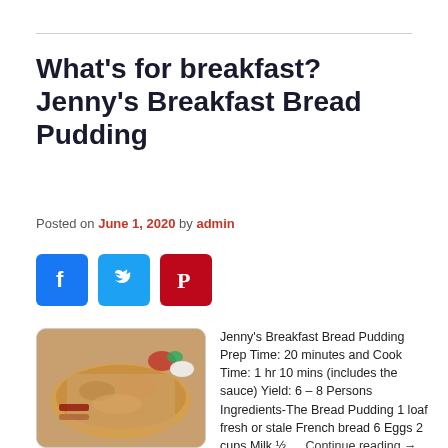What's for breakfast? Jenny's Breakfast Bread Pudding
Posted on June 1, 2020 by admin
[Figure (other): Social media sharing icons: Facebook (blue), Twitter (light blue), Pinterest (red)]
[Figure (photo): Photo of Jenny's Breakfast Bread Pudding — bread pudding with powdered sugar, fruit garnish, and bacon on a plate]
Jenny's Breakfast Bread Pudding Prep Time: 20 minutes and Cook Time: 1 hr 10 mins (includes the sauce) Yield: 6 – 8 Persons Ingredients-The Bread Pudding 1 loaf fresh or stale French bread 6 Eggs 2 cups Milk ½ … Continue reading →